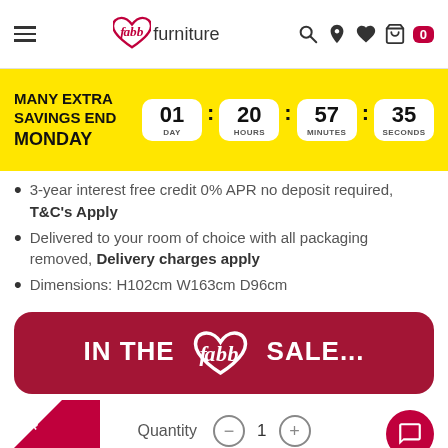fabb furniture — navigation header with hamburger menu, logo, search, location, wishlist, bag, cart (0)
[Figure (infographic): Yellow countdown banner: MANY EXTRA SAVINGS END MONDAY — 01 DAY : 20 HOURS : 57 MINUTES : 35 SECONDS]
3-year interest free credit 0% APR no deposit required, T&C's Apply
Delivered to your room of choice with all packaging removed, Delivery charges apply
Dimensions: H102cm W163cm D96cm
[Figure (logo): IN THE fabb SALE... promotional banner on dark red background]
Quantity — 1 +